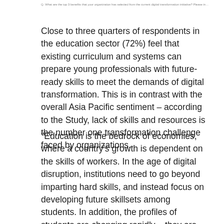Q. What are the top 3 benefits that your organization has selected from the current digital transformation initiative? Please indicate the degree of improvement for each area.
Close to three quarters of respondents in the education sector (72%) feel that existing curriculum and systems can prepare young professionals with future-ready skills to meet the demands of digital transformation. This is in contrast with the overall Asia Pacific sentiment – according to the Study, lack of skills and resources is the number one transformation challenge faced by organizations.
“Education is the bedrock of economies, where a country’s growth is dependent on the skills of workers. In the age of digital disruption, institutions need to go beyond imparting hard skills, and instead focus on developing future skillsets among students. In addition, the profiles of students are changing rapidly – they are digital natives across age groups. Our research shows that leaders in the sector expect positive benefits in student engagement and empowered faculty from a formed digital transformation strategy,” said Larry Nelson, Regional General Manager, Education, Microsoft